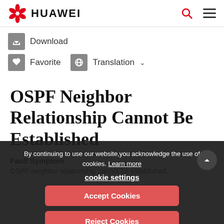HUAWEI
Download
Favorite   Translation
OSPF Neighbor Relationship Cannot Be Established
Fault Symptom
OSPF neighbor relationship cannot be established.
By continuing to use our website,you acknowledge the use of cookies. Learn more
cookie settings
Accept Cookies
Reject Cookies
< Previous   Next >